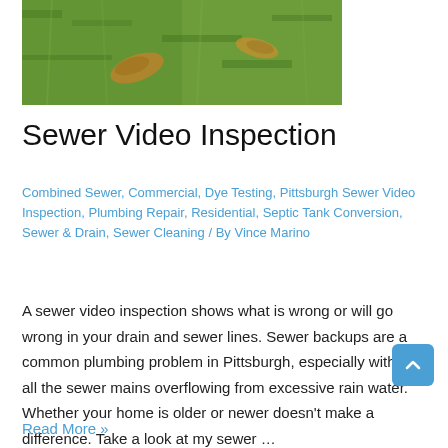[Figure (photo): Photograph of grass with dried brown leaves on it]
Sewer Video Inspection
Combined Sewer, Commercial, Dye Testing, Pittsburgh Sewer Video Inspection, Plumbing Repair, Residential, Septic Tank Conversion, Sewer & Drain, Sewer Cleaning / By Vince Marino
A sewer video inspection shows what is wrong or will go wrong in your drain and sewer lines. Sewer backups are a common plumbing problem in Pittsburgh, especially with all the sewer mains overflowing from excessive rain water. Whether your home is older or newer doesn't make a difference. Take a look at my sewer …
Read More »